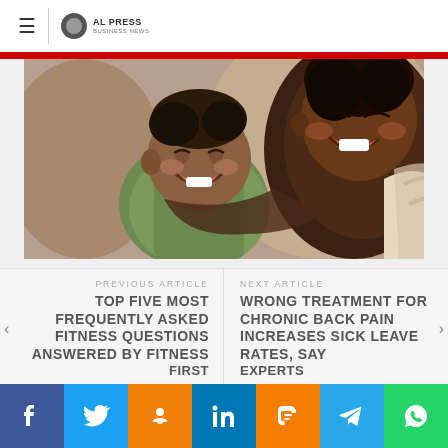≡  AL PRESS
[Figure (photo): A smiling baby in a green outfit being embraced by a laughing woman, both showing joy and happiness]
PREVIOUS ARTICLE
TOP FIVE MOST FREQUENTLY ASKED FITNESS QUESTIONS ANSWERED BY FITNESS FIRST
NEXT ARTICLE
WRONG TREATMENT FOR CHRONIC BACK PAIN INCREASES SICK LEAVE RATES, SAY EXPERTS
[Figure (infographic): Social media sharing buttons: Facebook, Twitter, Odnoklassniki, LinkedIn, Blogger, Telegram, WhatsApp]